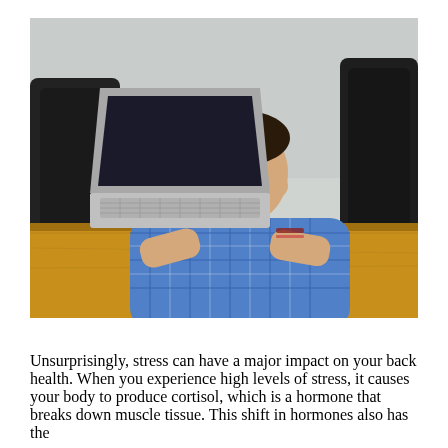[Figure (photo): A young man with dark hair wearing a blue and white checkered shirt sits at a wooden desk with an open laptop, holding his head in his hands with both elbows on the desk, looking stressed. Black office chairs are visible in the background.]
Unsurprisingly, stress can have a major impact on your back health. When you experience high levels of stress, it causes your body to produce cortisol, which is a hormone that breaks down muscle tissue. This shift in hormones also has the